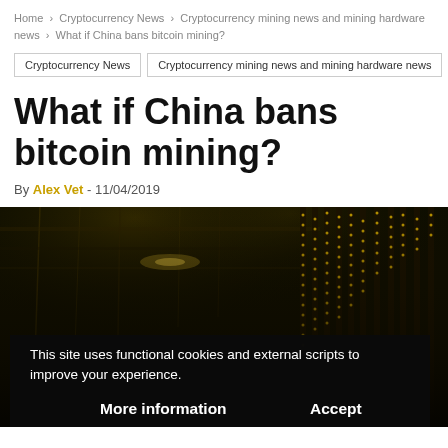Home > Cryptocurrency News > Cryptocurrency mining news and mining hardware news > What if China bans bitcoin mining?
Cryptocurrency News
Cryptocurrency mining news and mining hardware news
What if China bans bitcoin mining?
By Alex Vet - 11/04/2019
[Figure (photo): Dark data center / bitcoin mining facility with server racks lit with golden LEDs, with a cookie consent banner overlay reading 'This site uses functional cookies and external scripts to improve your experience.' with buttons 'More information' and 'Accept']